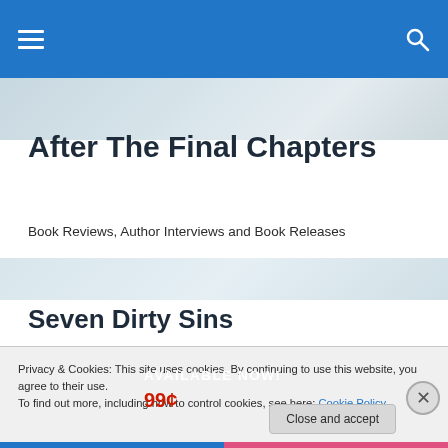After The Final Chapters — navigation bar
After The Final Chapters
Book Reviews, Author Interviews and Book Releases
Seven Dirty Sins
[Figure (photo): Book promotional banner: dark background with 'AVAILABLE NOW! 99¢' text and a shirtless male torso image]
Privacy & Cookies: This site uses cookies. By continuing to use this website, you agree to their use.
To find out more, including how to control cookies, see here: Cookie Policy
Close and accept